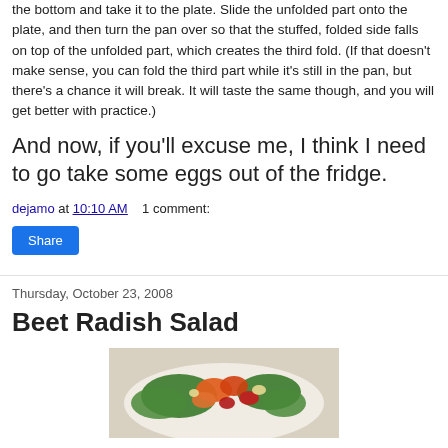the bottom and take it to the plate. Slide the unfolded part onto the plate, and then turn the pan over so that the stuffed, folded side falls on top of the unfolded part, which creates the third fold. (If that doesn't make sense, you can fold the third part while it's still in the pan, but there's a chance it will break. It will taste the same though, and you will get better with practice.)
And now, if you'll excuse me, I think I need to go take some eggs out of the fridge.
dejamo at 10:10 AM    1 comment:
Share
Thursday, October 23, 2008
Beet Radish Salad
[Figure (photo): A salad with beets, radishes, and greens on a white plate]